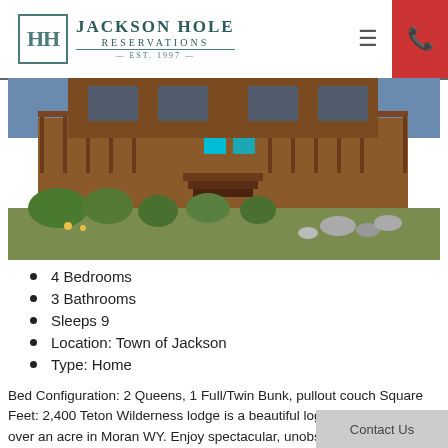Jackson Hole Reservations — EST. 1997
[Figure (photo): Exterior photo of a log cabin/home with a large wrap-around deck, wooden railings, stairs, turquoise chairs, and surrounding vegetation]
4 Bedrooms
3 Bathrooms
Sleeps 9
Location: Town of Jackson
Type: Home
Bed Configuration: 2 Queens, 1 Full/Twin Bunk, pullout couch Square Feet: 2,400 Teton Wilderness lodge is a beautiful log home situated on over an acre in Moran WY. Enjoy spectacular, unobstructed Grand Teton views from the oversized wrap around deck. The large windows in the living room give you plenty of